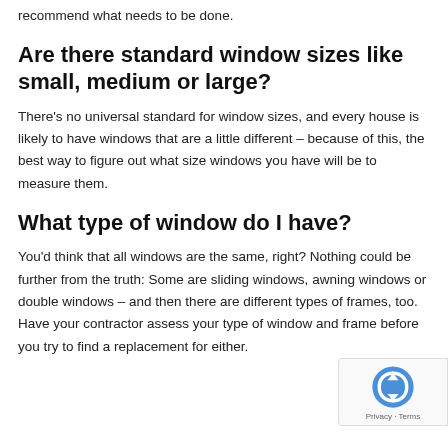recommend what needs to be done.
Are there standard window sizes like small, medium or large?
There's no universal standard for window sizes, and every house is likely to have windows that are a little different – because of this, the best way to figure out what size windows you have will be to measure them.
What type of window do I have?
You'd think that all windows are the same, right? Nothing could be further from the truth: Some are sliding windows, awning windows or double windows – and then there are different types of frames, too. Have your contractor assess your type of window and frame before you try to find a replacement for either.